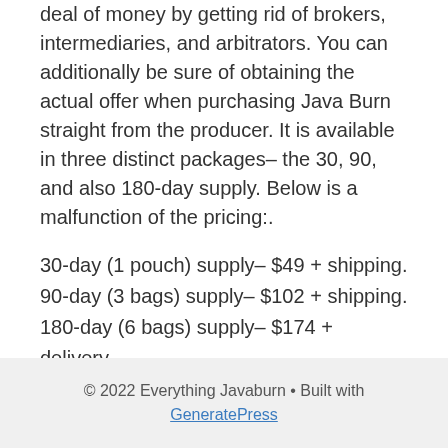deal of money by getting rid of brokers, intermediaries, and arbitrators. You can additionally be sure of obtaining the actual offer when purchasing Java Burn straight from the producer. It is available in three distinct packages– the 30, 90, and also 180-day supply. Below is a malfunction of the pricing:.
30-day (1 pouch) supply– $49 + shipping.
90-day (3 bags) supply– $102 + shipping.
180-day (6 bags) supply– $174 + delivery.
© 2022 Everything Javaburn • Built with GeneratePress